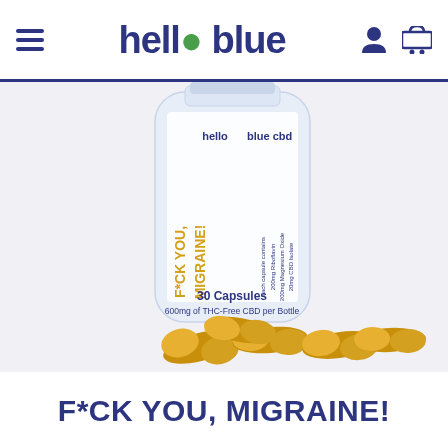hello blue
[Figure (photo): White pill bottle labeled 'hello blue cbd' with text 'F*CK YOU, MIGRAINE!' in orange/yellow, and label 'Each capsule contains 200mg Riboflavin, 200mg Magnesium Oxide, 20mg CBD Isolate. 30 Capsules, 600mg of THC-Free CBD per Bottle'. Several golden/yellow capsules are scattered in front of the bottle.]
F*CK YOU, MIGRAINE!